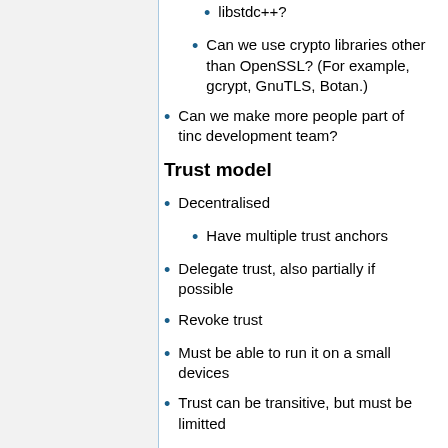libstdc++?
Can we use crypto libraries other than OpenSSL? (For example, gcrypt, GnuTLS, Botan.)
Can we make more people part of tinc development team?
Trust model
Decentralised
Have multiple trust anchors
Delegate trust, also partially if possible
Revoke trust
Must be able to run it on a small devices
Trust can be transitive, but must be limitted
Perhaps limit trust transitivity to certain subnets (a trusts b with